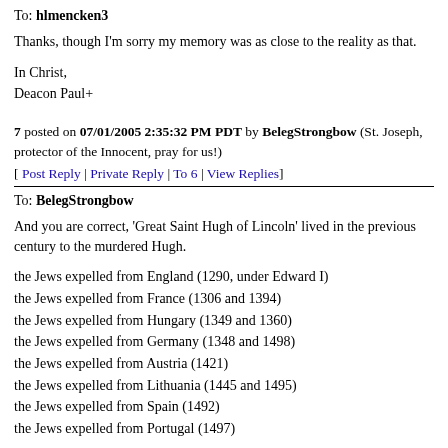To: hlmencken3
Thanks, though I'm sorry my memory was as close to the reality as that.
In Christ,
Deacon Paul+
7 posted on 07/01/2005 2:35:32 PM PDT by BelegStrongbow (St. Joseph, protector of the Innocent, pray for us!)
[ Post Reply | Private Reply | To 6 | View Replies]
To: BelegStrongbow
And you are correct, 'Great Saint Hugh of Lincoln' lived in the previous century to the murdered Hugh.
the Jews expelled from England (1290, under Edward I)
the Jews expelled from France (1306 and 1394)
the Jews expelled from Hungary (1349 and 1360)
the Jews expelled from Germany (1348 and 1498)
the Jews expelled from Austria (1421)
the Jews expelled from Lithuania (1445 and 1495)
the Jews expelled from Spain (1492)
the Jews expelled from Portugal (1497)